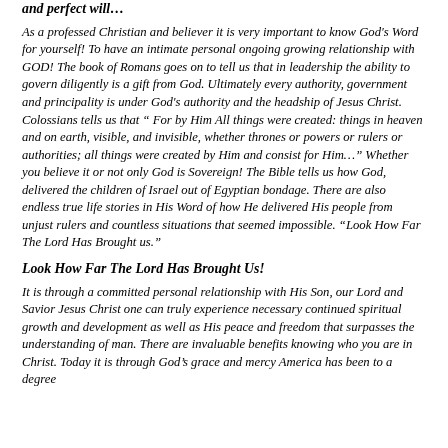and perfect will…
As a professed Christian and believer it is very important to know God's Word for yourself! To have an intimate personal ongoing growing relationship with GOD! The book of Romans goes on to tell us that in leadership the ability to govern diligently is a gift from God. Ultimately every authority, government and principality is under God's authority and the headship of Jesus Christ. Colossians tells us that " For by Him All things were created: things in heaven and on earth, visible, and invisible, whether thrones or powers or rulers or authorities; all things were created by Him and consist for Him…" Whether you believe it or not only God is Sovereign! The Bible tells us how God, delivered the children of Israel out of Egyptian bondage. There are also endless true life stories in His Word of how He delivered His people from unjust rulers and countless situations that seemed impossible. "Look How Far The Lord Has Brought us."
Look How Far The Lord Has Brought Us!
It is through a committed personal relationship with His Son, our Lord and Savior Jesus Christ one can truly experience necessary continued spiritual growth and development as well as His peace and freedom that surpasses the understanding of man. There are invaluable benefits knowing who you are in Christ. Today it is through God's grace and mercy America has been to a degree